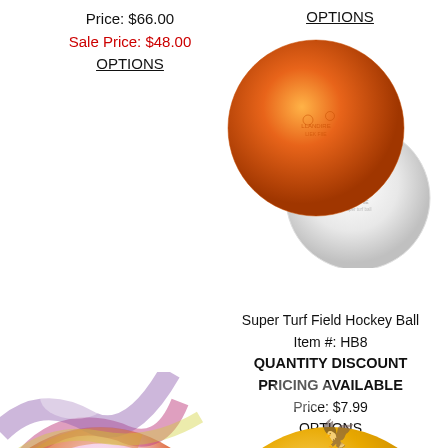Price: $66.00
Sale Price: $48.00
OPTIONS
OPTIONS
[Figure (photo): Two field hockey balls, one orange and one white, overlapping each other]
Super Turf Field Hockey Ball
Item #: HB8
QUANTITY DISCOUNT PRICING AVAILABLE
Price: $7.99
OPTIONS
[Figure (photo): Colorful tie-dye field hockey ball, partially visible at bottom left]
[Figure (photo): Yellow/gold field hockey ball with logo, partially visible at bottom right]